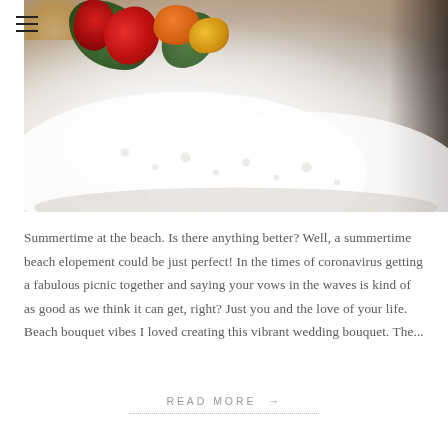[Figure (photo): Close-up photograph of a bride in a white lace wedding dress holding a vibrant bouquet with red, orange, and yellow flowers with dark green leaves, set on a beach with sand visible in the background.]
Summertime at the beach. Is there anything better? Well, a summertime beach elopement could be just perfect! In the times of coronavirus getting a fabulous picnic together and saying your vows in the waves is kind of as good as we think it can get, right? Just you and the love of your life. Beach bouquet vibes I loved creating this vibrant wedding bouquet. The...
READ MORE →